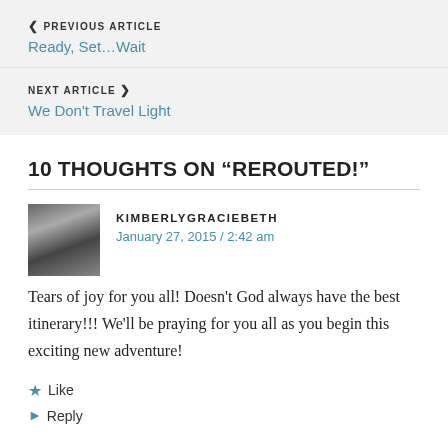« PREVIOUS ARTICLE
Ready, Set…Wait
NEXT ARTICLE »
We Don't Travel Light
10 THOUGHTS ON "REROUTED!"
KIMBERLYGRACIEBETH
January 27, 2015 / 2:42 am
Tears of joy for you all! Doesn't God always have the best itinerary!!! We'll be praying for you all as you begin this exciting new adventure!
Like
Reply